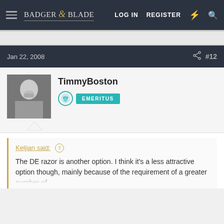Badger & Blade — LOG IN  REGISTER
Jan 22, 2008  #12
TimmyBoston  EMERITUS
Keljian said: ↑  The DE razor is another option. I think it's a less attractive option though, mainly because of the requirement of a greater number of